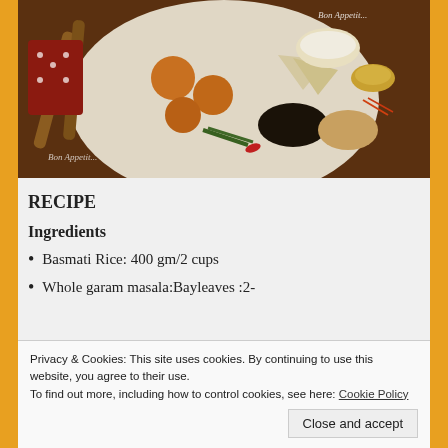[Figure (photo): Overhead photo of a white plate with food items including fried pakoras/balls, bread/papad triangles, small bowls of cream and ghee, black spices, cashews, green and red chilies, and saffron strands, on a dark wooden surface with wooden spoons and a red polka-dot cloth. Watermark reads 'Bon Appetit...' in two places.]
RECIPE
Ingredients
Basmati Rice:  400 gm/2 cups
Whole garam masala:Bayleaves :2-
Privacy & Cookies: This site uses cookies. By continuing to use this website, you agree to their use.
To find out more, including how to control cookies, see here: Cookie Policy
Close and accept
Enchor(Jackfruit) :10-12 pieces